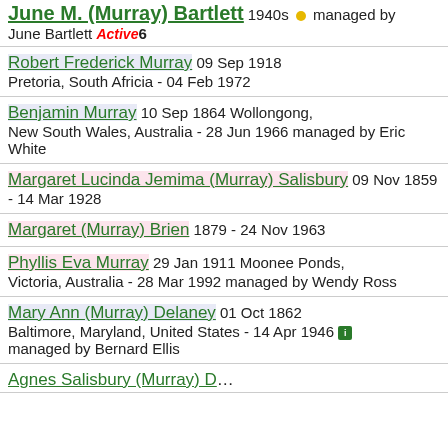June M. (Murray) Bartlett 1940s managed by June Bartlett Active 6
Robert Frederick Murray 09 Sep 1918 Pretoria, South Africia - 04 Feb 1972
Benjamin Murray 10 Sep 1864 Wollongong, New South Wales, Australia - 28 Jun 1966 managed by Eric White
Margaret Lucinda Jemima (Murray) Salisbury 09 Nov 1859 - 14 Mar 1928
Margaret (Murray) Brien 1879 - 24 Nov 1963
Phyllis Eva Murray 29 Jan 1911 Moonee Ponds, Victoria, Australia - 28 Mar 1992 managed by Wendy Ross
Mary Ann (Murray) Delaney 01 Oct 1862 Baltimore, Maryland, United States - 14 Apr 1946 managed by Bernard Ellis
Agnes Salisbury (Murray) D...